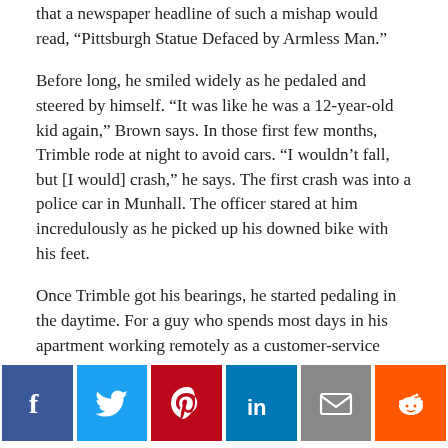that a newspaper headline of such a mishap would read, “Pittsburgh Statue Defaced by Armless Man.”
Before long, he smiled widely as he pedaled and steered by himself. “It was like he was a 12-year-old kid again,” Brown says. In those first few months, Trimble rode at night to avoid cars. “I wouldn’t fall, but [I would] crash,” he says. The first crash was into a police car in Munhall. The officer stared at him incredulously as he picked up his downed bike with his feet.
Once Trimble got his bearings, he started pedaling in the daytime. For a guy who spends most days in his apartment working remotely as a customer-service
[Figure (infographic): Social share buttons row: Facebook (blue), Twitter (light blue), Pinterest (red), LinkedIn (blue), Email (grey), Reddit (orange)]